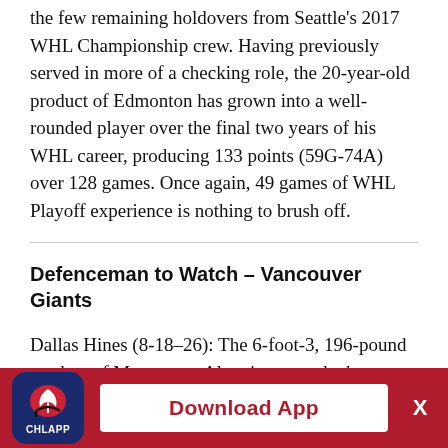the few remaining holdovers from Seattle's 2017 WHL Championship crew. Having previously served in more of a checking role, the 20-year-old product of Edmonton has grown into a well-rounded player over the final two years of his WHL career, producing 133 points (59G-74A) over 128 games. Once again, 49 games of WHL Playoff experience is nothing to brush off.
Defenceman to Watch – Vancouver Giants
Dallas Hines (8-18–26): The 6-foot-3, 196-pound product of Marwayne, Alta., is sure to be hungry as he makes his WHL Playoff debut in this his final WHL season. Selected in the fifth round (97th) of the 2013 WHL Bantam Draft by the Kootenay ICE, Hines logged 221 games in Cranbrook before the Giants added him
[Figure (logo): CHL App icon with flame/leaf logo and CHLAPP text]
Download App   X